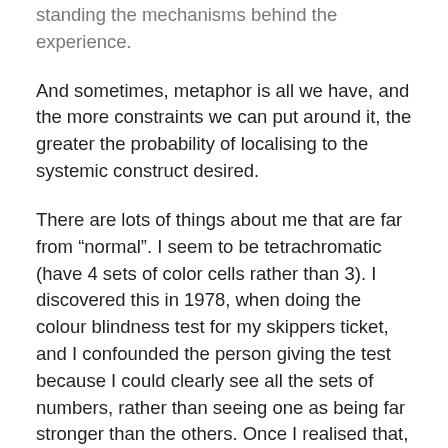standing the mechanisms behind the experience.
And sometimes, metaphor is all we have, and the more constraints we can put around it, the greater the probability of localising to the systemic construct desired.
There are lots of things about me that are far from “normal”. I seem to be tetrachromatic (have 4 sets of color cells rather than 3). I discovered this in 1978, when doing the colour blindness test for my skippers ticket, and I confounded the person giving the test because I could clearly see all the sets of numbers, rather than seeing one as being far stronger than the others. Once I realised that, it did explain the fact that I would often argue with my siblings about whether a colour was more green like or more blue like. I clearly saw things differently.
My hearing is similarly different. I lose it at about 13 kHz,